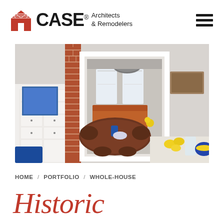CASE Architects & Remodelers
[Figure (photo): Interior photo of a renovated home showing a dining area with a round wooden table, mid-century modern chairs, white built-in cabinetry, exposed brick column, patterned drum pendant light, and a connected living room with orange sofa visible through a white-framed opening. Yellow lemons and glassware visible in foreground.]
HOME / PORTFOLIO / WHOLE-HOUSE
Historic